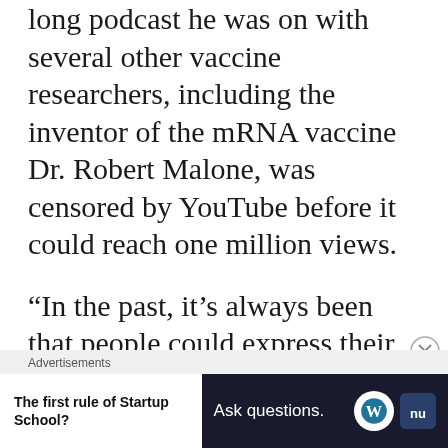long podcast he was on with several other vaccine researchers, including the inventor of the mRNA vaccine Dr. Robert Malone, was censored by YouTube before it could reach one million views.
“In the past, it’s always been that people could express their views and express views that maybe disagreed with other scientists, and the scientists would respect that, and they’d have a discussion or they
Advertisements
[Figure (other): Advertisement banner with two sections: left white section with bold text 'The first rule of Startup School?' and right dark navy section with text 'Ask questions.' and WordPress and news logos.]